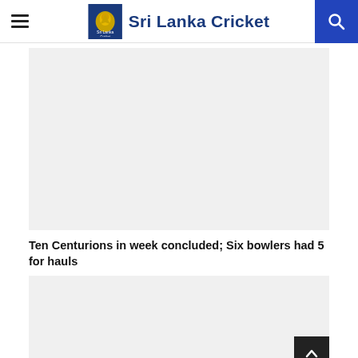Sri Lanka Cricket
[Figure (photo): Large placeholder image area for a Sri Lanka Cricket article]
Ten Centurions in week concluded; Six bowlers had 5 for hauls
[Figure (photo): Second placeholder image area for Sri Lanka Cricket article]